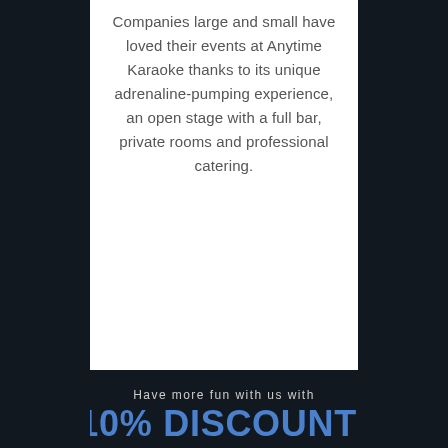Companies large and small have loved their events at Anytime Karaoke thanks to its unique adrenaline-pumping experience, an open stage with a full bar, private rooms and professional catering.
Have more fun with us with
10% DISCOUNT!
*limited to one discount per visit
Bring us a receipt from:
[Figure (logo): Three logos: Anytime Bar & Billiards & Kitchen, Anytime (cursive @ symbol), The Spot]